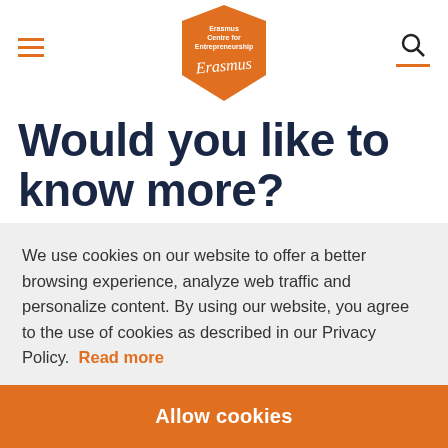[Figure (logo): Erasmus Centre for Entrepreneurship logo - orange pentagon shape with white text and cursive signature]
Would you like to know more?
We use cookies on our website to offer a better browsing experience, analyze web traffic and personalize content. By using our website, you agree to the use of cookies as described in our Privacy Policy.  Read more
Allow cookies